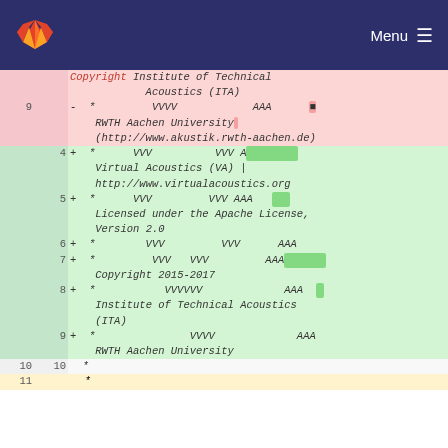GitLab navigation bar with logo and Menu
| old_ln | new_ln | code |
| --- | --- | --- |
|  |  | Copyright Institute of Technical Acoustics (ITA) |
| 9 |  | - *         VVVV            AAA   [red] RWTH Aachen University (http://www.akustik.rwth-aachen.de) |
|  | 4 | + *      VVV         VVV A [green] Virtual Acoustics (VA) | http://www.virtualacoustics.org |
|  | 5 | + *      VVV         VVV AAA [green] Licensed under the Apache License, Version 2.0 |
|  | 6 | + *       VVV          VVV     AAA |
|  | 7 | + *        VVV   VVV        AAA [green] Copyright 2015-2017 |
|  | 8 | + *          VVVVVV             AAA [green] Institute of Technical Acoustics (ITA) |
|  | 9 | + *              VVVV             AAA  RWTH Aachen University |
| 10 | 10 |   * |
| 11 |  |   * |